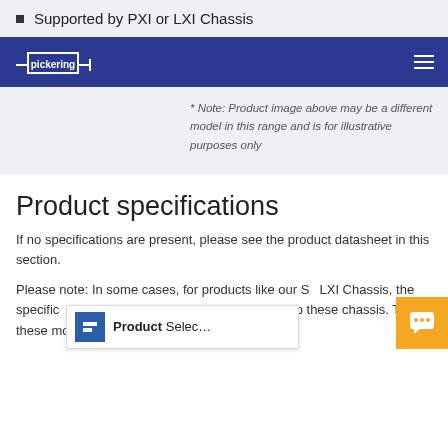Supported by PXI or LXI Chassis
[Figure (logo): Pickering logo in white on navy navigation bar with hamburger menu icon]
* Note: Product image above may be a different model in this range and is for illustrative purposes only
Product specifications
If no specifications are present, please see the product datasheet in this section.
Please note: In some cases, for products like our S... LXI Chassis, the specific... datasheets for the asso... inserted into these chassis. To find these modules, go to
[Figure (screenshot): Product Selector widget overlay with blue icon and orange chat button]